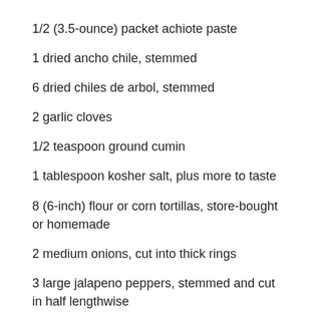1/2 (3.5-ounce) packet achiote paste
1 dried ancho chile, stemmed
6 dried chiles de arbol, stemmed
2 garlic cloves
1/2 teaspoon ground cumin
1 tablespoon kosher salt, plus more to taste
8 (6-inch) flour or corn tortillas, store-bought or homemade
2 medium onions, cut into thick rings
3 large jalapeno peppers, stemmed and cut in half lengthwise
Place the chicken on a clean work surface, breast-side down. Using kitchen shears, cut lengthwise along both